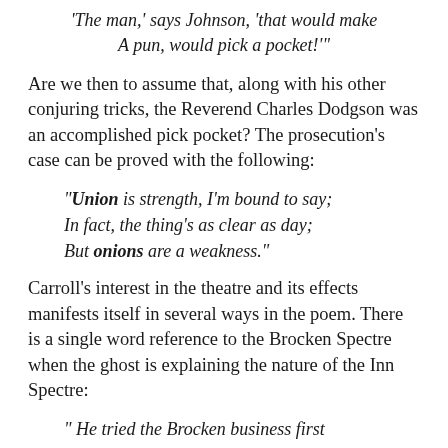‘The man,’ says Johnson, ‘that would make A pun, would pick a pocket!’”
Are we then to assume that, along with his other conjuring tricks, the Reverend Charles Dodgson was an accomplished pick pocket? The prosecution’s case can be proved with the following:
“Union is strength, I’m bound to say; In fact, the thing’s as clear as day; But onions are a weakness.”
Carroll’s interest in the theatre and its effects manifests itself in several ways in the poem. There is a single word reference to the Brocken Spectre when the ghost is explaining the nature of the Inn Spectre:
“ He tried the Brocken business first